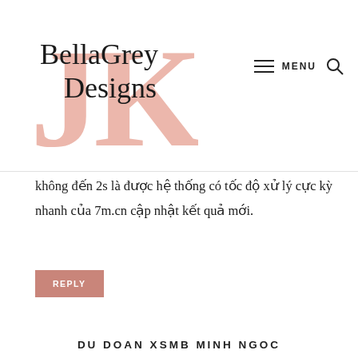[Figure (logo): BellaGrey Designs JK logo with pink JK letters in background and cursive script overlay]
không đến 2s là được hệ thống có tốc độ xử lý cực kỳ nhanh của 7m.cn cập nhật kết quả mới.
REPLY
DU DOAN XSMB MINH NGOC
NOVEMBER 1, 2020 AT 10:31 PM
Xổ số miền Bắc (XSMB) hay còn được biết đến với cái tên xổ số thủ đô được quay số mở thưởng vào lúc 18h15 hàng ngày tại trường quay S4 đài truyền hình kỹ thuật